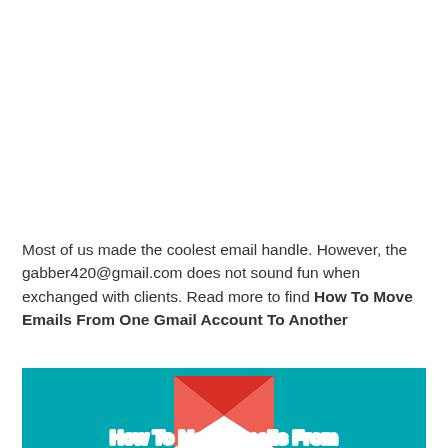Most of us made the coolest email handle. However, the gabber420@gmail.com does not sound fun when exchanged with clients. Read more to find How To Move Emails From One Gmail Account To Another
[Figure (illustration): Teal/turquoise background image with a Gmail envelope icon (red and white) in the center and bold outlined text reading 'How To Move Emails From' at the bottom]